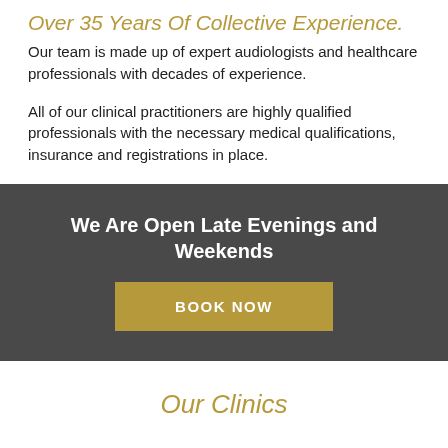Over 35 Years Of Collective Experience.
Our team is made up of expert audiologists and healthcare professionals with decades of experience.
All of our clinical practitioners are highly qualified professionals with the necessary medical qualifications, insurance and registrations in place.
We Are Open Late Evenings and Weekends
BOOK NOW
Our Clinics